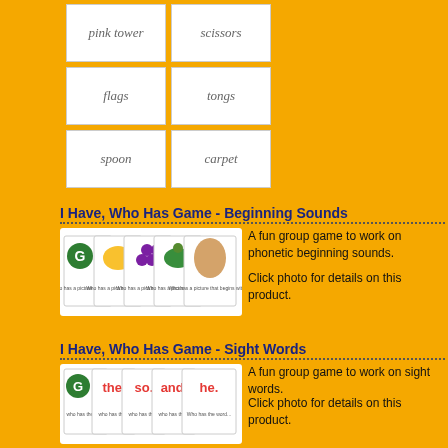[Figure (illustration): Grid of word cards in cursive script: pink tower, scissors, flags, tongs, spoon, carpet]
I Have, Who Has Game - Beginning Sounds
[Figure (photo): Fan of game cards showing I Have Who Has Beginning Sounds game with images of a G card, egg, grapes, turtle, and egg]
A fun group game to work on phonetic beginning sounds.
Click photo for details on this product.
I Have, Who Has Game - Sight Words
[Figure (photo): Fan of game cards showing I Have Who Has Sight Words game with words: the, so, and, he]
A fun group game to work on sight words.
Click photo for details on this product.